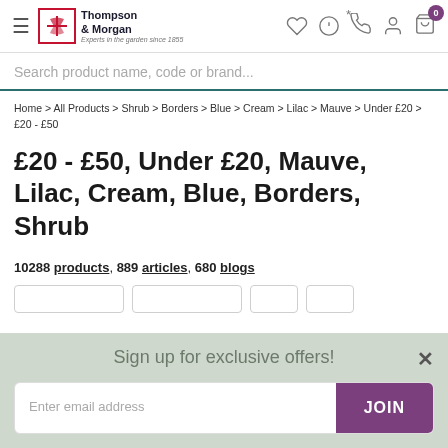Thompson & Morgan — Experts in the garden since 1855
Search product name, code or brand...
Home > All Products > Shrub > Borders > Blue > Cream > Lilac > Mauve > Under £20 > £20 - £50
£20 - £50, Under £20, Mauve, Lilac, Cream, Blue, Borders, Shrub
10288 products, 889 articles, 680 blogs
Sign up for exclusive offers!
Enter email address
JOIN